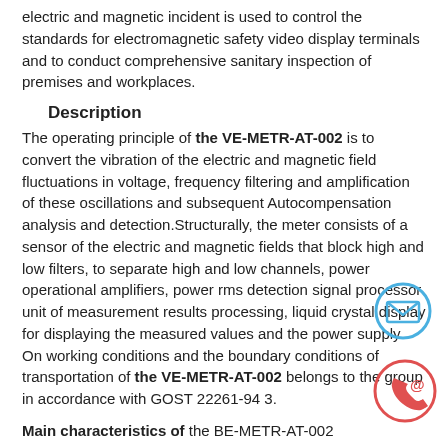electric and magnetic incident is used to control the standards for electromagnetic safety video display terminals and to conduct comprehensive sanitary inspection of premises and workplaces.
Description
The operating principle of the VE-METR-AT-002 is to convert the vibration of the electric and magnetic field fluctuations in voltage, frequency filtering and amplification of these oscillations and subsequent Autocompensation analysis and detection.Structurally, the meter consists of a sensor of the electric and magnetic fields that block high and low filters, to separate high and low channels, power operational amplifiers, power rms detection signal processor unit of measurement results processing, liquid crystal display for displaying the measured values and the power supply. On working conditions and the boundary conditions of transportation of the VE-METR-AT-002 belongs to the group in accordance with GOST 22261-94 3.
Main characteristics of the BE-METR-AT-002
- The frequency range from 5Hz to 400kHz;